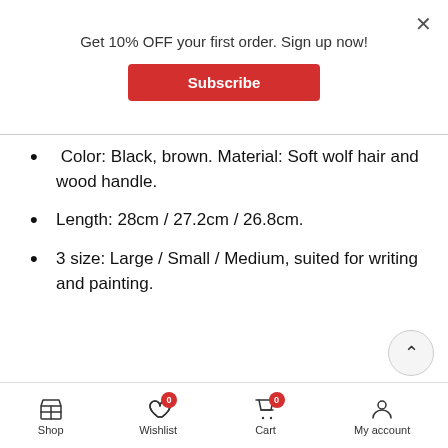Get 10% OFF your first order. Sign up now!
Subscribe
Color: Black, brown. Material: Soft wolf hair and wood handle.
Length: 28cm / 27.2cm / 26.8cm.
3 size: Large / Small / Medium, suited for writing and painting.
Shop Now
Shop | Wishlist | Cart | My account